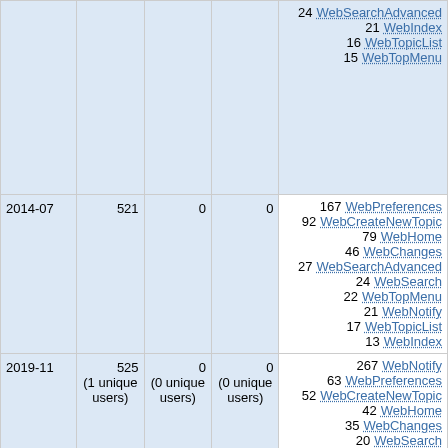| Date | Views | Edits | Contributors | Top Pages |
| --- | --- | --- | --- | --- |
|  |  |  |  | 24 WebSearchAdvanced
21 WebIndex
16 WebTopicList
15 WebTopMenu |
| 2014-07 | 521 | 0 | 0 | 167 WebPreferences
92 WebCreateNewTopic
79 WebHome
46 WebChanges
27 WebSearchAdvanced
24 WebSearch
22 WebTopMenu
21 WebNotify
17 WebTopicList
13 WebIndex |
| 2019-11 | 525 (1 unique users) | 0 (0 unique users) | 0 (0 unique users) | 267 WebNotify
63 WebPreferences
52 WebCreateNewTopic
42 WebHome
35 WebChanges
20 WebSearch
11 WebTopMenu
10 WebSearchAdvanced |